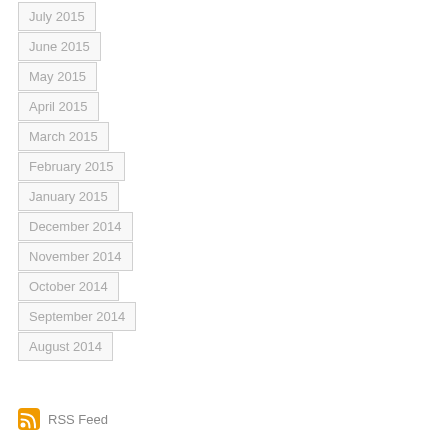July 2015
June 2015
May 2015
April 2015
March 2015
February 2015
January 2015
December 2014
November 2014
October 2014
September 2014
August 2014
RSS Feed